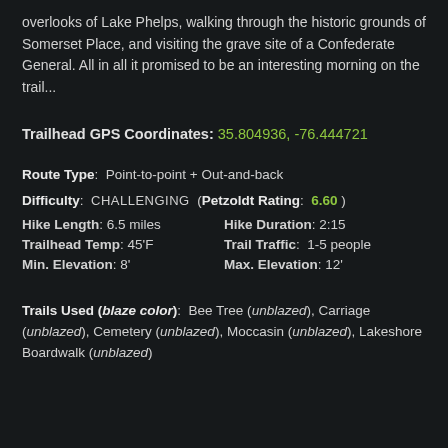overlooks of Lake Phelps, walking through the historic grounds of Somerset Place, and visiting the grave site of a Confederate General. All in all it promised to be an interesting morning on the trail...
Trailhead GPS Coordinates: 35.804936, -76.444721
Route Type: Point-to-point + Out-and-back
Difficulty: CHALLENGING (Petzoldt Rating: 6.60 )
Hike Length: 6.5 miles   Hike Duration: 2:15
Trailhead Temp: 45'F   Trail Traffic: 1-5 people
Min. Elevation: 8'   Max. Elevation: 12'
Trails Used (blaze color): Bee Tree (unblazed), Carriage (unblazed), Cemetery (unblazed), Moccasin (unblazed), Lakeshore Boardwalk (unblazed)